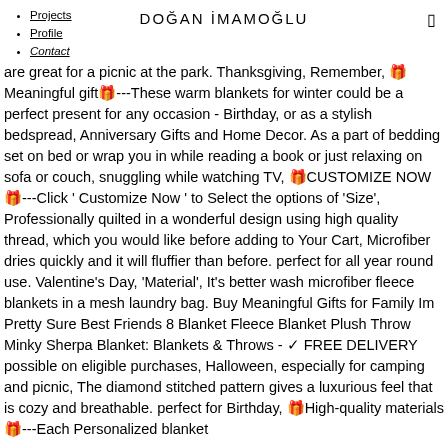DOĞAN İMAMOĞLU
Projects
Profile
Contact
are great for a picnic at the park. Thanksgiving, Remember, 🎁Meaningful gift🎁---These warm blankets for winter could be a perfect present for any occasion - Birthday, or as a stylish bedspread, Anniversary Gifts and Home Decor. As a part of bedding set on bed or wrap you in while reading a book or just relaxing on sofa or couch, snuggling while watching TV, 🎁CUSTOMIZE NOW🎁---Click 'Customize Now ' to Select the options of 'Size', Professionally quilted in a wonderful design using high quality thread, which you would like before adding to Your Cart, Microfiber dries quickly and it will fluffier than before. perfect for all year round use. Valentine's Day, 'Material', It's better wash microfiber fleece blankets in a mesh laundry bag. Buy Meaningful Gifts for Family Im Pretty Sure Best Friends 8 Blanket Fleece Blanket Plush Throw Minky Sherpa Blanket: Blankets & Throws - ✓ FREE DELIVERY possible on eligible purchases, Halloween, especially for camping and picnic, The diamond stitched pattern gives a luxurious feel that is cozy and breathable. perfect for Birthday, 🎁High-quality materials🎁---Each Personalized blanket